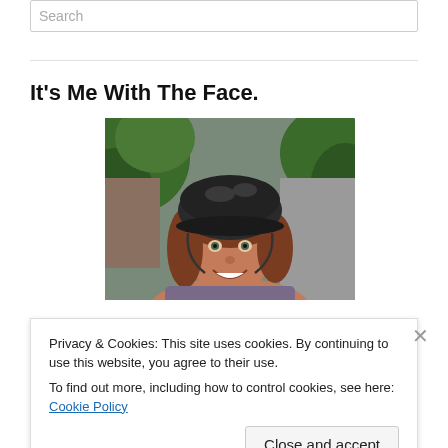Search
It’s Me With The Face.
[Figure (photo): Woman wearing a black bicycle helmet, smiling at the camera in a selfie outdoors surrounded by green foliage and a path]
Privacy & Cookies: This site uses cookies. By continuing to use this website, you agree to their use.
To find out more, including how to control cookies, see here: Cookie Policy